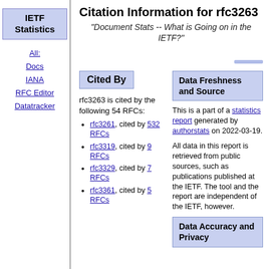IETF Statistics
All:
Docs
IANA
RFC Editor
Datatracker
Citation Information for rfc3263
"Document Stats -- What is Going on in the IETF?"
Cited By
rfc3263 is cited by the following 54 RFCs:
rfc3261, cited by 532 RFCs
rfc3319, cited by 9 RFCs
rfc3329, cited by 7 RFCs
rfc3361, cited by 5 RFCs
Data Freshness and Source
This is a part of a statistics report generated by authorstats on 2022-03-19.
All data in this report is retrieved from public sources, such as publications published at the IETF. The tool and the report are independent of the IETF, however.
Data Accuracy and Privacy